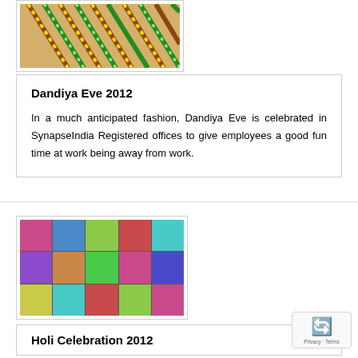[Figure (photo): Photo of dandiya sticks, colorful decorative rods, top portion visible]
Dandiya Eve 2012
In a much anticipated fashion, Dandiya Eve is celebrated in SynapseIndia Registered offices to give employees a good fun time at work being away from work.
[Figure (photo): Grid collage of faces celebrating Holi, faces covered with colored powder]
Holi Celebration 2012